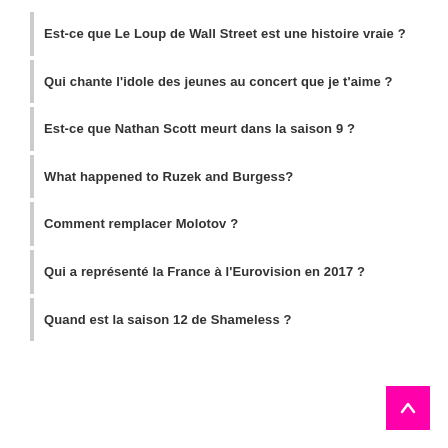Est-ce que Le Loup de Wall Street est une histoire vraie ?
Qui chante l'idole des jeunes au concert que je t'aime ?
Est-ce que Nathan Scott meurt dans la saison 9 ?
What happened to Ruzek and Burgess?
Comment remplacer Molotov ?
Qui a représenté la France à l'Eurovision en 2017 ?
Quand est la saison 12 de Shameless ?